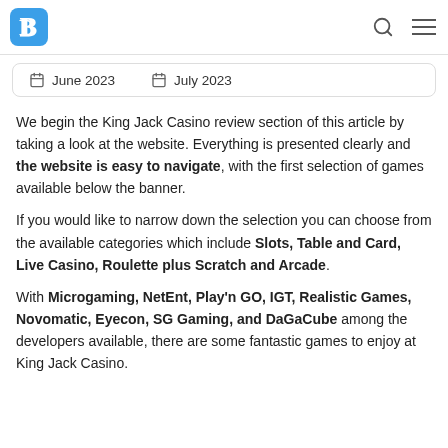B [logo] | search icon | menu icon
June 2023   July 2023
We begin the King Jack Casino review section of this article by taking a look at the website. Everything is presented clearly and the website is easy to navigate, with the first selection of games available below the banner.
If you would like to narrow down the selection you can choose from the available categories which include Slots, Table and Card, Live Casino, Roulette plus Scratch and Arcade.
With Microgaming, NetEnt, Play'n GO, IGT, Realistic Games, Novomatic, Eyecon, SG Gaming, and DaGaCube among the developers available, there are some fantastic games to enjoy at King Jack Casino.